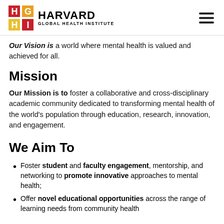Harvard Global Health Institute
Our Vision is a world where mental health is valued and achieved for all.
Mission
Our Mission is to foster a collaborative and cross-disciplinary academic community dedicated to transforming mental health of the world's population through education, research, innovation, and engagement.
We Aim To
Foster student and faculty engagement, mentorship, and networking to promote innovative approaches to mental health;
Offer novel educational opportunities across the range of learning needs from community health